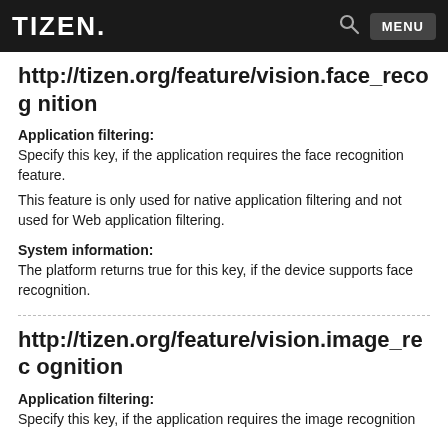TIZEN   MENU
http://tizen.org/feature/vision.face_recognition
Application filtering:
Specify this key, if the application requires the face recognition feature.
This feature is only used for native application filtering and not used for Web application filtering.
System information:
The platform returns true for this key, if the device supports face recognition.
http://tizen.org/feature/vision.image_recognition
Application filtering:
Specify this key, if the application requires the image recognition